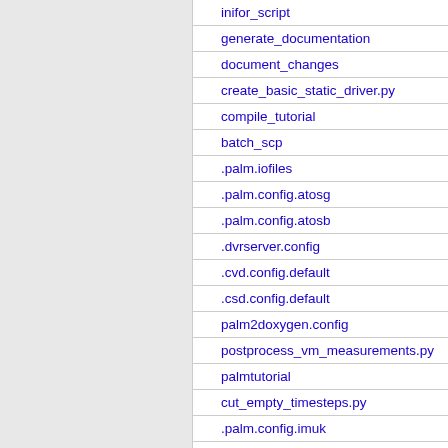inifor_script
generate_documentation
document_changes
create_basic_static_driver.py
compile_tutorial
batch_scp
.palm.iofiles
.palm.config.atosg
.palm.config.atosb
.dvrserver.config
.cvd.config.default
.csd.config.default
palm2doxygen.config
postprocess_vm_measurements.py
palmtutorial
cut_empty_timesteps.py
.palm.config.imuk
.palm.config.idefix
.palm.config.eddy_ifort